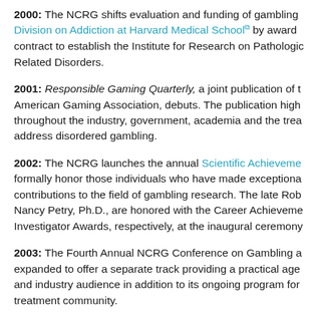2000: The NCRG shifts evaluation and funding of gambling Division on Addiction at Harvard Medical School by award contract to establish the Institute for Research on Pathologic Related Disorders.
2001: Responsible Gaming Quarterly, a joint publication of t American Gaming Association, debuts. The publication high throughout the industry, government, academia and the trea address disordered gambling.
2002: The NCRG launches the annual Scientific Achieveme formally honor those individuals who have made exceptiona contributions to the field of gambling research. The late Rob Nancy Petry, Ph.D., are honored with the Career Achieveme Investigator Awards, respectively, at the inaugural ceremony
2003: The Fourth Annual NCRG Conference on Gambling a expanded to offer a separate track providing a practical age and industry audience in addition to its ongoing program for treatment community.
2004: Drs. Howard Shaffer, Alex Blaszcynski and Robert La Science-Based Framework for Responsible Gaming: The Re Journal of Gambling Studies. This paper outlines a strategic minimize the negative impact of gambling addiction.